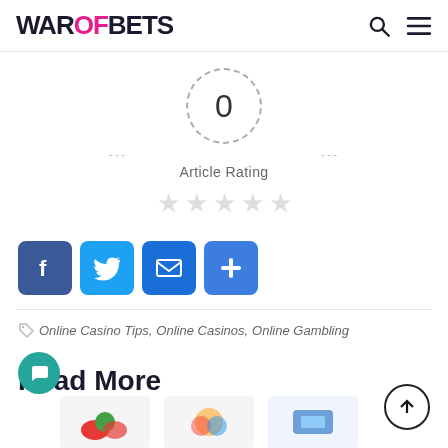WAROFBETS
[Figure (infographic): Article rating widget showing 0 rating in a dashed circle with 5 empty stars and dashes on either side, labeled 'Article Rating']
Article Rating
[Figure (infographic): Social share buttons: Facebook (blue), Twitter (light blue), Email (blue), More/Plus (blue)]
Online Casino Tips,  Online Casinos,  Online Gambling
Read More